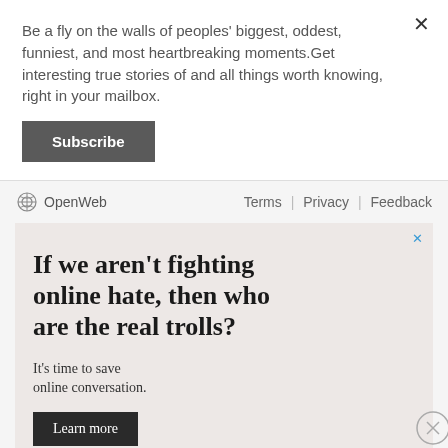Be a fly on the walls of peoples' biggest, oddest, funniest, and most heartbreaking moments.Get interesting true stories of and all things worth knowing, right in your mailbox.
Subscribe
OpenWeb    Terms | Privacy | Feedback
[Figure (screenshot): Advertisement banner with text: If we aren't fighting online hate, then who are the real trolls? It's time to save online conversation. Learn more button. OpenWeb logo at bottom.]